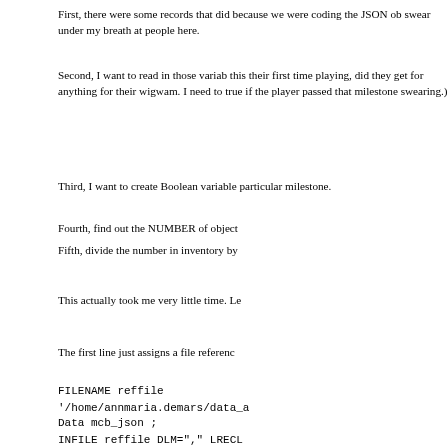First, there were some records that did because we were coding the JSON ob swear under my breath at people here.
Second, I want to read in those variab this their first time playing, did they ge for anything for their wigwam. I need t true if the player passed that milestone swearing.)
Third, I want to create Boolean variable particular milestone.
Fourth, find out the NUMBER of object
Fifth, divide the number in inventory by
This actually took me very little time. Le
The first line just assigns a file referenc
FILENAME reffile
'/home/annmaria.demars/data_a

Data mcb_json ;
INFILE reffile DLM="," LRECL

*** READ IN FILE, VARIABLES ARE S
OF THE RECORD IS 1,337 ;

INFORMAT first_trade $40.
First, there were some records that did because we were coding the JSON ob swear under my breath at people here.
Second, I want to read in those variab this their first time playing, did they ge for anything for their wigwam. I need t true if the player passed that milestone swearing.)
Third, I want to create Boolean variable particular milestone.
Fourth, find out the NUMBER of object
Fifth, divide the number in inventory by